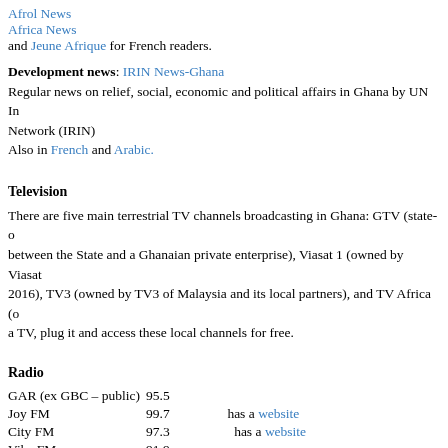Afrol News
Africa News
and Jeune Afrique for French readers.
Development news: IRIN News-Ghana
Regular news on relief, social, economic and political affairs in Ghana by UN Information Network (IRIN)
Also in French and Arabic.
Television
There are five main terrestrial TV channels broadcasting in Ghana: GTV (state-owned), between the State and a Ghanaian private enterprise), Viasat 1 (owned by Viasat 2016), TV3 (owned by TV3 of Malaysia and its local partners), and TV Africa (owned). a TV, plug it and access these local channels for free.
Radio
| Station | Frequency | Notes |
| --- | --- | --- |
| GAR (ex GBC – public) | 95.5 |  |
| Joy FM | 99.7 | has a website |
| City FM | 97.3 | has a website |
| Vibe FM | 91.9 |  |
| X FM | 95.1 |  |
| Univers FM | 105.7 or 88.7 |  |
| Atlantis | 87.9 | more for music |
| The radio of the University of Ghana - Legon in Accra |  |  |